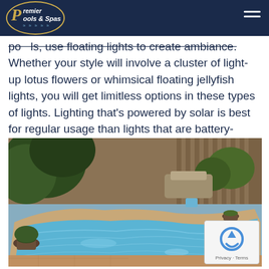Premier Pools & Spas
pools, use floating lights to create ambiance. Whether your style will involve a cluster of light-up lotus flowers or whimsical floating jellyfish lights, you will get limitless options in these types of lights. Lighting that's powered by solar is best for regular usage than lights that are battery-powered.
[Figure (photo): Outdoor swimming pool with freeform shape, light blue water, stone coping, surrounding patio with stamped concrete, lush tropical plants, wooden fence in background, sunny day.]